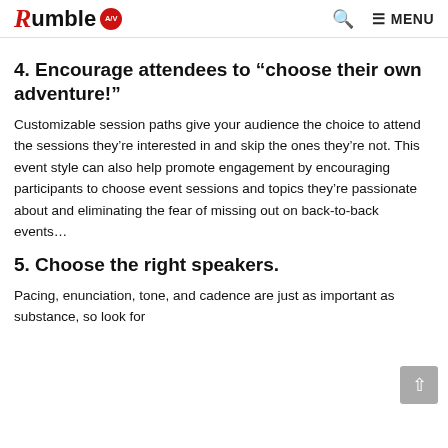Rumble A/V
4. Encourage attendees to “choose their own adventure!”
Customizable session paths give your audience the choice to attend the sessions they’re interested in and skip the ones they’re not. This event style can also help promote engagement by encouraging participants to choose event sessions and topics they’re passionate about and eliminating the fear of missing out on back-to-back events…
5. Choose the right speakers.
Pacing, enunciation, tone, and cadence are just as important as substance, so look for